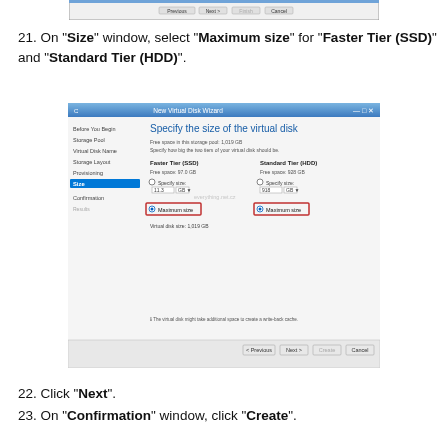[Figure (screenshot): Partial bottom of a previous dialog window showing button bar]
21. On "Size" window, select "Maximum size" for "Faster Tier (SSD)" and "Standard Tier (HDD)".
[Figure (screenshot): New Virtual Disk Wizard - Size page showing Faster Tier (SSD) and Standard Tier (HDD) with Maximum size selected for both, highlighted in red boxes.]
22. Click "Next".
23. On "Confirmation" window, click "Create".